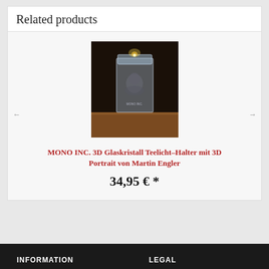Related products
[Figure (photo): A 3D glass crystal tealight holder with a 3D portrait of Martin Engler engraved inside, lit from the top with a candle flame, placed on a wooden surface against a dark background.]
MONO INC. 3D Glaskristall Teelicht-Halter mit 3D Portrait von Martin Engler
34,95 € *
INFORMATION    LEGAL